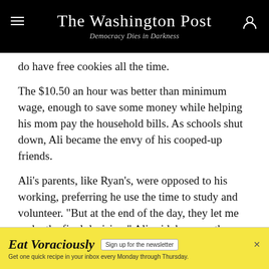The Washington Post
Democracy Dies in Darkness
do have free cookies all the time.
The $10.50 an hour was better than minimum wage, enough to save some money while helping his mom pay the household bills. As schools shut down, Ali became the envy of his cooped-up friends.
Ali’s parents, like Ryan’s, were opposed to his working, preferring he use the time to study and volunteer. “But at the end of the day, they let me make the final decision,” Ali said, because they know he’s responsible and works hard in school. This spring, Ali made sure to shed the mask, gloves and blue polo he wears as an
[Figure (infographic): Eat Voraciously advertisement banner. Yellow background. Text: 'Eat Voraciously - Sign up for the newsletter. Get one quick recipe in your inbox every Monday through Thursday.']